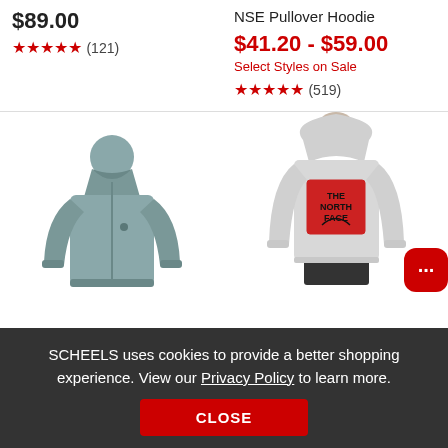NSE Pullover Hoodie
$89.00
★★★★★ (121)
$41.20 - $59.00
Select Styles on Sale
★★★★★ (519)
[Figure (photo): Gray athletic zip-up jacket/pullover with collar, front view]
[Figure (photo): Person wearing light gray The North Face NSE Pullover Hoodie, back view showing red box logo]
SCHEELS uses cookies to provide a better shopping experience. View our Privacy Policy to learn more.
CLOSE